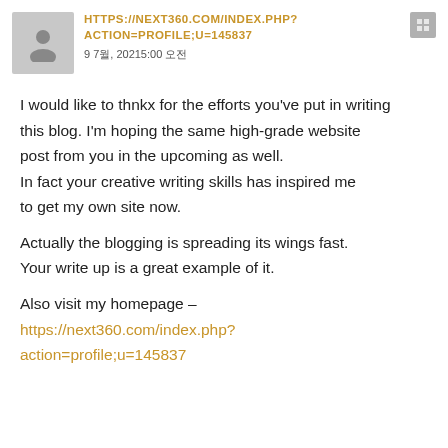HTTPS://NEXT360.COM/INDEX.PHP?ACTION=PROFILE;U=145837
9 7월, 20215:00 오전
I would like to thnkx for the efforts you've put in writing this blog. I'm hoping the same high-grade website post from you in the upcoming as well. In fact your creative writing skills has inspired me to get my own site now.
Actually the blogging is spreading its wings fast. Your write up is a great example of it.
Also visit my homepage – https://next360.com/index.php?action=profile;u=145837